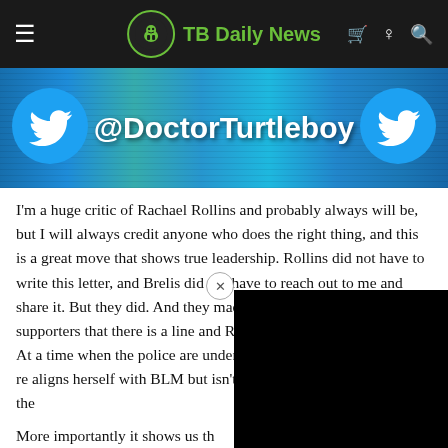TB Daily News
[Figure (screenshot): Twitter banner image with @DoctorTurtleboy handle, two Twitter bird logos on left and right, crowd background]
I'm a huge critic of Rachael Rollins and probably always will be, but I will always credit anyone who does the right thing, and this is a great move that shows true leadership. Rollins did not have to write this letter, and Brelis did not have to reach out to me and share it. But they did. And they made it clear to their own supporters that there is a line and Rachel Corey crossed that line. At a time when the police are under attack like never before, it was re aligns herself with BLM but isn't a to that this sort of attack on the
More importantly it shows us th